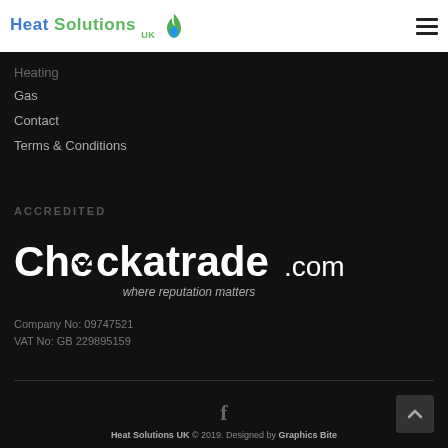Heat Solutions UK
Heating
Gas
Contact
Terms & Conditions
ACCREDITED
[Figure (logo): Checkatrade.com where reputation matters logo in white on dark background]
Company No: 09747521
VAT No: GB 229895159
Heat Solutions UK © 2019. Designed by Graphics Bite